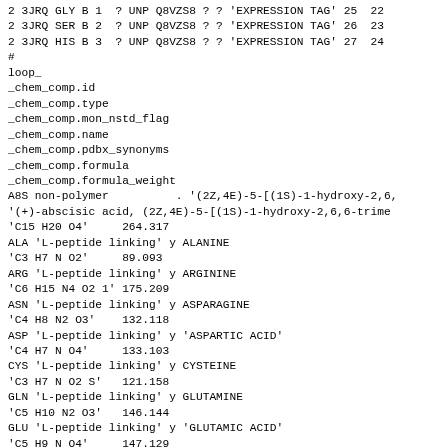2 3JRQ GLY B 1  ? UNP Q8VZS8 ? ? 'EXPRESSION TAG' 25  22
2 3JRQ SER B 2  ? UNP Q8VZS8 ? ? 'EXPRESSION TAG' 26  23
2 3JRQ HIS B 3  ? UNP Q8VZS8 ? ? 'EXPRESSION TAG' 27  24
#
loop_
_chem_comp.id
_chem_comp.type
_chem_comp.mon_nstd_flag
_chem_comp.name
_chem_comp.pdbx_synonyms
_chem_comp.formula
_chem_comp.formula_weight
A8S non-polymer          . '(2Z,4E)-5-[(1S)-1-hydroxy-2,6,
'(+)-abscisic acid, (2Z,4E)-5-[(1S)-1-hydroxy-2,6,6-trime
'C15 H20 O4'     264.317
ALA 'L-peptide linking' y ALANINE
'C3 H7 N O2'     89.093
ARG 'L-peptide linking' y ARGININE
'C6 H15 N4 O2 1' 175.209
ASN 'L-peptide linking' y ASPARAGINE
'C4 H8 N2 O3'    132.118
ASP 'L-peptide linking' y 'ASPARTIC ACID'
'C4 H7 N O4'     133.103
CYS 'L-peptide linking' y CYSTEINE
'C3 H7 N O2 S'   121.158
GLN 'L-peptide linking' y GLUTAMINE
'C5 H10 N2 O3'   146.144
GLU 'L-peptide linking' y 'GLUTAMIC ACID'
'C5 H9 N O4'     147.129
GLY 'peptide linking'   y GLYCINE